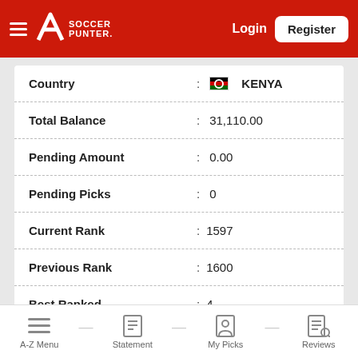Soccer Punter — Login | Register
| Field | Value |
| --- | --- |
| Country | KENYA |
| Total Balance | 31,110.00 |
| Pending Amount | 0.00 |
| Pending Picks | 0 |
| Current Rank | 1597 |
| Previous Rank | 1600 |
| Best Ranked | 4 |
A-Z Menu | Statement | My Picks | Reviews